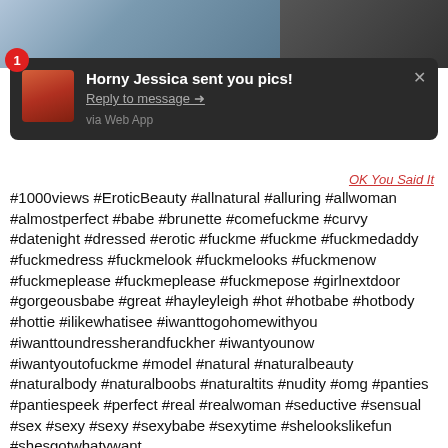[Figure (photo): Two partial photos at the top of the page forming a strip]
[Figure (screenshot): Dark notification popup: '1 Horny Jessica sent you pics! Reply to message → via Web App' with a thumbnail image and close X button]
#1000views #EroticBeauty #allnatural #alluring #allwoman #almostperfect #babe #brunette #comefuckme #curvy #datenight #dressed #erotic #fuckme #fuckme #fuckmedaddy #fuckmedress #fuckmelook #fuckmelooks #fuckmenow #fuckmeplease #fuckmeplease #fuckmepose #girlnextdoor #gorgeousbabe #great #hayleyleigh #hot #hotbabe #hotbody #hottie #ilikewhatisee #iwanttogohomewithyou #iwanttoundressherandfuckher #iwantyounow #iwantyoutofuckme #model #natural #naturalbeauty #naturalbody #naturalboobs #naturaltits #nudity #omg #panties #pantiespeek #perfect #real #realwoman #seductive #sensual #sex #sexy #sexy #sexybabe #sexytime #shelookslikefun #shesgotwhaty­want